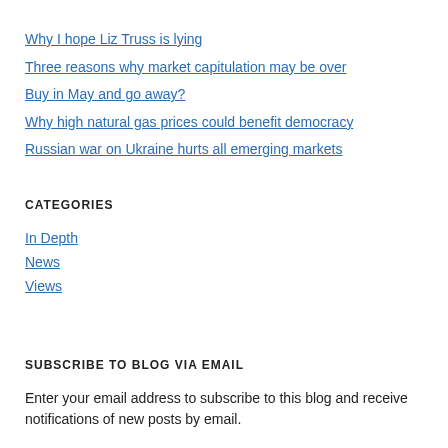Why I hope Liz Truss is lying
Three reasons why market capitulation may be over
Buy in May and go away?
Why high natural gas prices could benefit democracy
Russian war on Ukraine hurts all emerging markets
CATEGORIES
In Depth
News
Views
SUBSCRIBE TO BLOG VIA EMAIL
Enter your email address to subscribe to this blog and receive notifications of new posts by email.